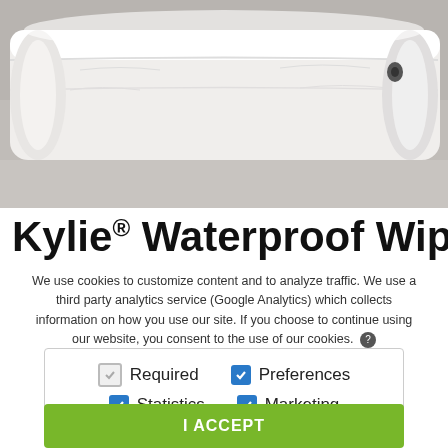[Figure (photo): White folded bed linen/duvet on a grey mattress protector, product photo for Kylie Waterproof Wipe product]
Kylie® Waterproof Wipe
We use cookies to customize content and to analyze traffic. We use a third party analytics service (Google Analytics) which collects information on how you use our site. If you choose to continue using our website, you consent to the use of our cookies. ?
Required (unchecked/greyed), Preferences (checked blue), Statistics (checked blue), Marketing (checked blue)
I ACCEPT